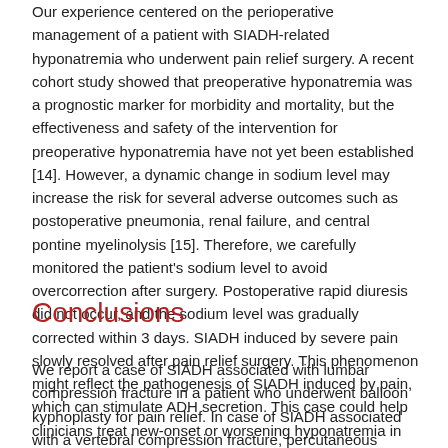Our experience centered on the perioperative management of a patient with SIADH-related hyponatremia who underwent pain relief surgery. A recent cohort study showed that preoperative hyponatremia was a prognostic marker for morbidity and mortality, but the effectiveness and safety of the intervention for preoperative hyponatremia have not yet been established [14]. However, a dynamic change in sodium level may increase the risk for several adverse outcomes such as postoperative pneumonia, renal failure, and central pontine myelinolysis [15]. Therefore, we carefully monitored the patient's sodium level to avoid overcorrection after surgery. Postoperative rapid diuresis did not occur, and the sodium level was gradually corrected within 3 days. SIADH induced by severe pain slowly resolved after pain relief surgery. This phenomenon might reflect the pathogenesis of SIADH induced by pain, which can stimulate ADH secretion. This case could help clinicians treat new-onset or worsening hyponatremia in patients with a vertebral compression fracture.
Conclusions
We report a case of SIADH associated with lumbar compression fracture in a patient who underwent balloon kyphoplasty for pain relief. In case of SIADH associated with a vertebral compression fracture, percutaneous balloon kyphoplasty might offer an